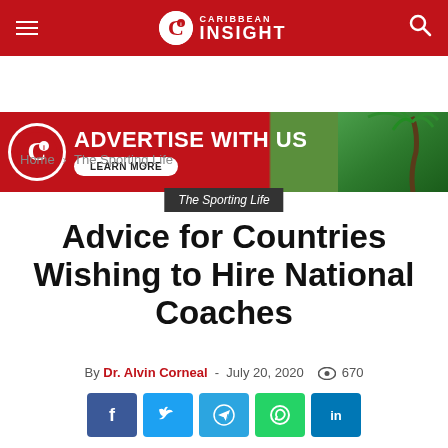Caribbean Insight — navigation header
[Figure (other): Advertisement banner: ADVERTISE WITH US — LEARN MORE, with Caribbean Insight logo and palm tree image]
Home › The Sporting Life
The Sporting Life
Advice for Countries Wishing to Hire National Coaches
By Dr. Alvin Corneal - July 20, 2020  670
[Figure (other): Social share buttons: Facebook, Twitter, Telegram, WhatsApp, LinkedIn]